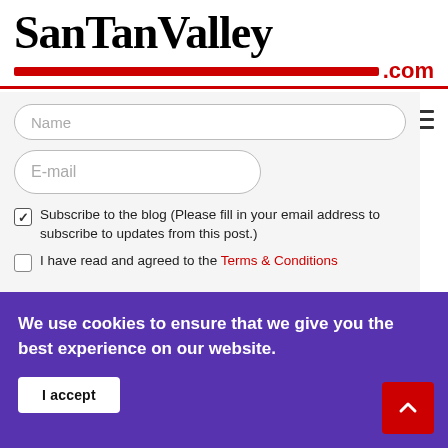[Figure (logo): SanTanValley.com logo with large serif black text and red underline bar with .com in red]
[Figure (screenshot): Web form with Name and E-mail input fields, a checked checkbox for blog subscription, and an unchecked checkbox for Terms & Conditions agreement]
Captcha Image
[Figure (screenshot): reCAPTCHA widget box with blue reCAPTCHA logo icon visible]
We use cookies to ensure that we give you the best experience on our website.
I accept